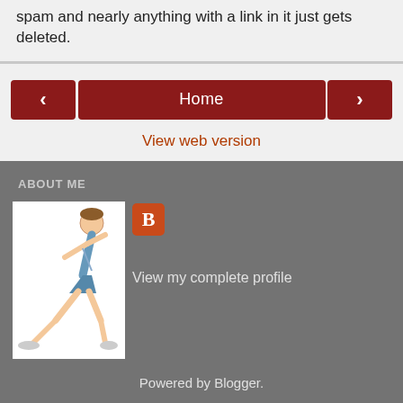spam and nearly anything with a link in it just gets deleted.
[Figure (screenshot): Navigation buttons: left arrow, Home button (dark red), right arrow; and a 'View web version' link below]
ABOUT ME
[Figure (illustration): Running figure illustration of a person jogging, next to a Blogger icon (orange-red square with white B)]
View my complete profile
Powered by Blogger.